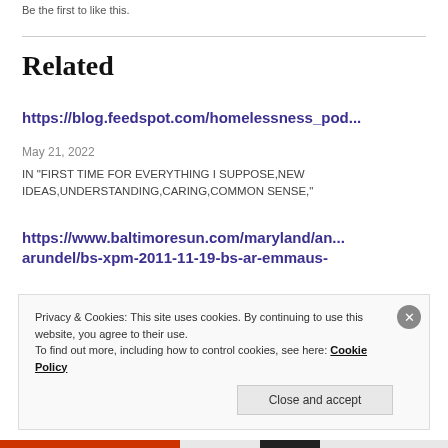Be the first to like this.
Related
https://blog.feedspot.com/homelessness_pod...
May 21, 2022
IN "FIRST TIME FOR EVERYTHING I SUPPOSE,NEW IDEAS,UNDERSTANDING,CARING,COMMON SENSE,"
https://www.baltimoresun.com/maryland/an... arundel/bs-xpm-2011-11-19-bs-ar-emmaus-
Privacy & Cookies: This site uses cookies. By continuing to use this website, you agree to their use.
To find out more, including how to control cookies, see here: Cookie Policy
Close and accept